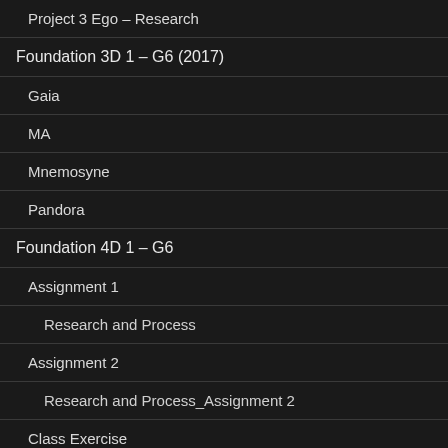Project 3 Ego – Research
Foundation 3D 1 – G6 (2017)
Gaia
MA
Mnemosyne
Pandora
Foundation 4D 1 – G6
Assignment 1
Research and Process
Assignment 2
Research and Process_Assignment 2
Class Exercise
Final Project